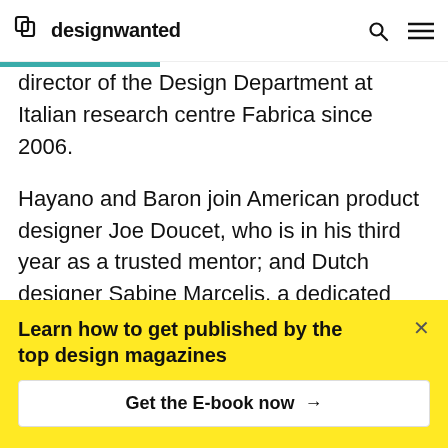designwanted
director of the Design Department at Italian research centre Fabrica since 2006.
Hayano and Baron join American product designer Joe Doucet, who is in his third year as a trusted mentor; and Dutch designer Sabine Marcelis, a dedicated mentor returning for the second time, whose role will be to find the mentee's key assets, helping them to grow and glow.
Learn how to get published by the top design magazines
Get the E-book now →